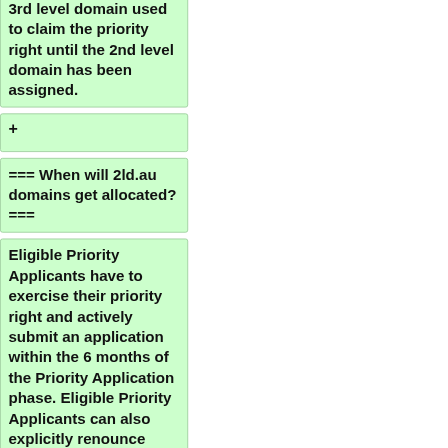3rd level domain used to claim the priority right until the 2nd level domain has been assigned.
+
=== When will 2ld.au domains get allocated? ===
Eligible Priority Applicants have to exercise their priority right and actively submit an application within the 6 months of the Priority Application phase. Eligible Priority Applicants can also explicitly renounce their right to apply.
+
Generally speaking, the